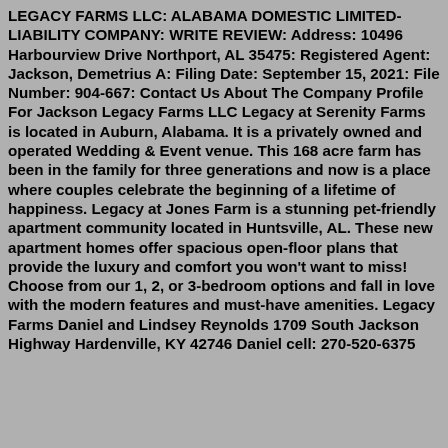LEGACY FARMS LLC: ALABAMA DOMESTIC LIMITED-LIABILITY COMPANY: WRITE REVIEW: Address: 10496 Harbourview Drive Northport, AL 35475: Registered Agent: Jackson, Demetrius A: Filing Date: September 15, 2021: File Number: 904-667: Contact Us About The Company Profile For Jackson Legacy Farms LLC Legacy at Serenity Farms is located in Auburn, Alabama. It is a privately owned and operated Wedding & Event venue. This 168 acre farm has been in the family for three generations and now is a place where couples celebrate the beginning of a lifetime of happiness. Legacy at Jones Farm is a stunning pet-friendly apartment community located in Huntsville, AL. These new apartment homes offer spacious open-floor plans that provide the luxury and comfort you won't want to miss! Choose from our 1, 2, or 3-bedroom options and fall in love with the modern features and must-have amenities. Legacy Farms Daniel and Lindsey Reynolds 1709 South Jackson Highway Hardenville, KY 42746 Daniel cell: 270-520-6375...